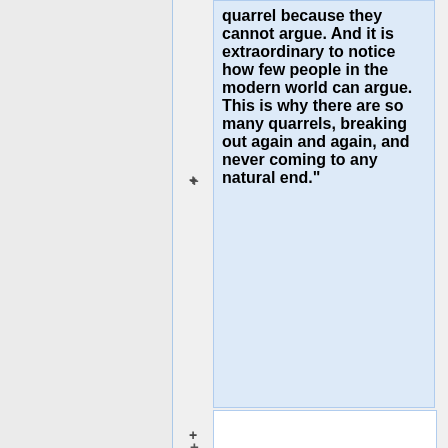quarrel because they cannot argue. And it is extraordinary to notice how few people in the modern world can argue. This is why there are so many quarrels, breaking out again and again, and never coming to any natural end."
*{{Quotation|
If our social conditions curtail
If our social conditions curtail